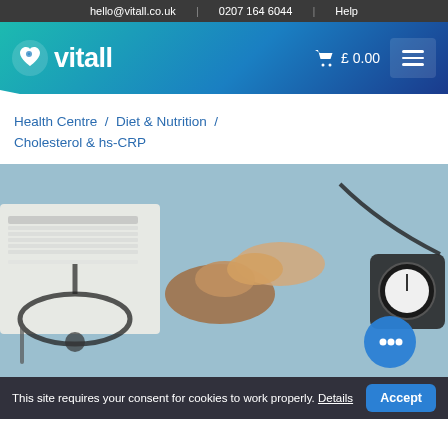hello@vitall.co.uk  |  0207 164 6044  |  Help
[Figure (logo): Vitall logo with heart icon and text 'vitall', cart showing £0.00 and hamburger menu]
Health Centre / Diet & Nutrition / Cholesterol & hs-CRP
[Figure (photo): Medical professional checking patient's blood pressure, with stethoscope and medical chart visible on a blue-grey surface]
This site requires your consent for cookies to work properly. Details